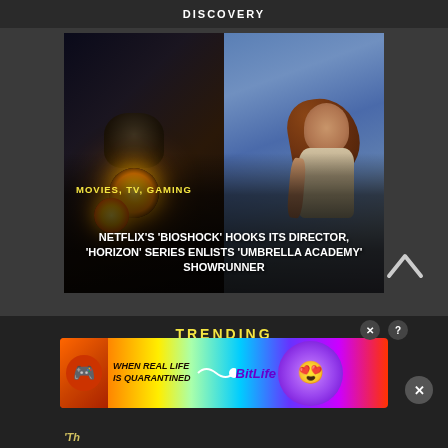DISCOVERY
[Figure (illustration): Article card featuring BioShock Big Daddy character on left half (dark atmosphere with glowing yellow orbs) and Horizon character Aloy on right half (blue sky background). Overlaid category tag and headline.]
MOVIES, TV, GAMING
NETFLIX'S 'BIOSHOCK' HOOKS ITS DIRECTOR, 'HORIZON' SERIES ENLISTS 'UMBRELLA ACADEMY' SHOWRUNNER
TRENDING
[Figure (advertisement): BitLife app advertisement banner with rainbow gradient background. Text reads: WHEN REAL LIFE IS QUARANTINED followed by BitLife logo and emoji characters. Has question mark and X close buttons.]
'Th